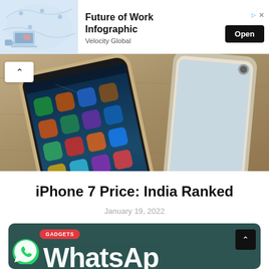[Figure (infographic): Advertisement banner: Future of Work Infographic by Velocity Global with Open button and map/laptop illustration]
[Figure (photo): Two iPhones lying on a wooden surface, screens showing app icons]
iPhone 7 Price: India Ranked
January 19, 2022
[Figure (screenshot): Card with dark teal background showing GADGETS badge, WhatsApp logo circle, and large WhatsAp text, with scroll-up button]